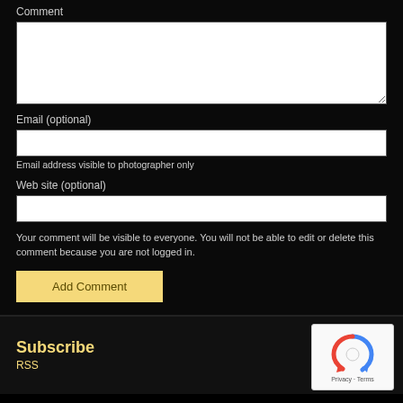Comment
[Figure (screenshot): Empty text area input box for comment]
Email (optional)
[Figure (screenshot): Single-line input box for email]
Email address visible to photographer only
Web site (optional)
[Figure (screenshot): Single-line input box for web site]
Your comment will be visible to everyone. You will not be able to edit or delete this comment because you are not logged in.
[Figure (screenshot): Add Comment button with yellow background]
Subscribe
RSS
[Figure (logo): Google reCAPTCHA widget with circular arrow logo and Privacy - Terms text]